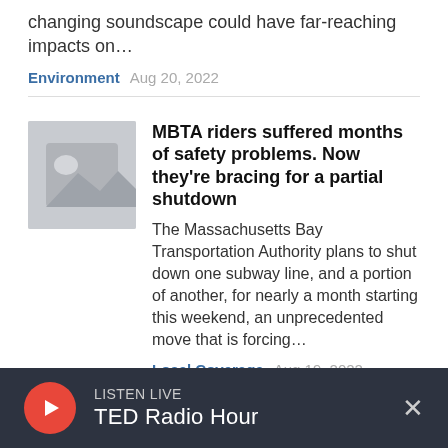changing soundscape could have far-reaching impacts on…
Environment  Aug 20, 2022
MBTA riders suffered months of safety problems. Now they're bracing for a partial shutdown
The Massachusetts Bay Transportation Authority plans to shut down one subway line, and a portion of another, for nearly a month starting this weekend, an unprecedented move that is forcing…
Local Coverage  Aug 19, 2022
LISTEN LIVE  TED Radio Hour